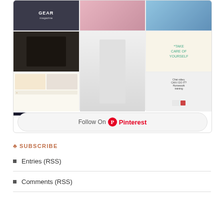[Figure (screenshot): Pinterest widget showing a mosaic grid of images with a 'Follow On Pinterest' button at the bottom]
♣ SUBSCRIBE
Entries (RSS)
Comments (RSS)